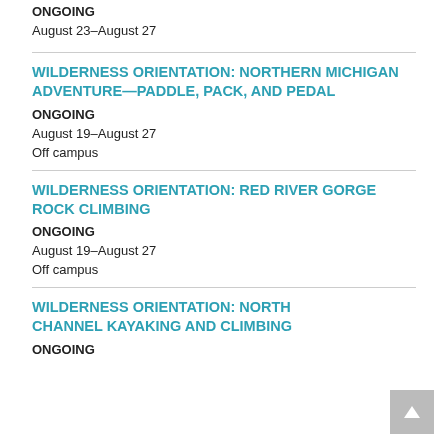ONGOING
August 23–August 27
WILDERNESS ORIENTATION: NORTHERN MICHIGAN ADVENTURE—PADDLE, PACK, AND PEDAL
ONGOING
August 19–August 27
Off campus
WILDERNESS ORIENTATION: RED RIVER GORGE ROCK CLIMBING
ONGOING
August 19–August 27
Off campus
WILDERNESS ORIENTATION: NORTH CHANNEL KAYAKING AND CLIMBING
ONGOING